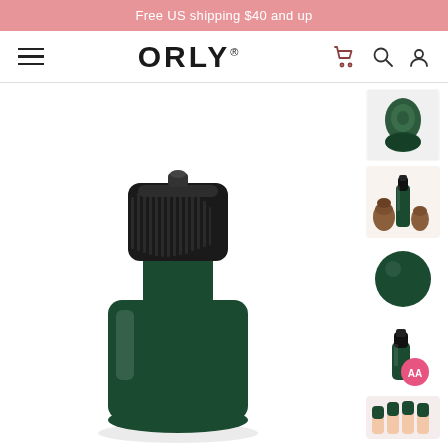Free US shipping $40 and up
[Figure (screenshot): ORLY website navigation bar with hamburger menu, ORLY logo, cart icon, search icon, and account icon]
[Figure (photo): ORLY nail polish bottle in dark forest green color, close-up showing the black cap and bottle, product page main image]
[Figure (photo): Thumbnail 1: ORLY nail polish bottle top view in dark green]
[Figure (photo): Thumbnail 2: ORLY dark green nail polish bottle next to pine cones]
[Figure (photo): Thumbnail 3: Dark green nail polish swatch circle]
[Figure (photo): Thumbnail 4: ORLY nail polish bottle with pink AA badge overlay]
[Figure (photo): Thumbnail 5: Nails painted with dark green nail polish, partially visible]